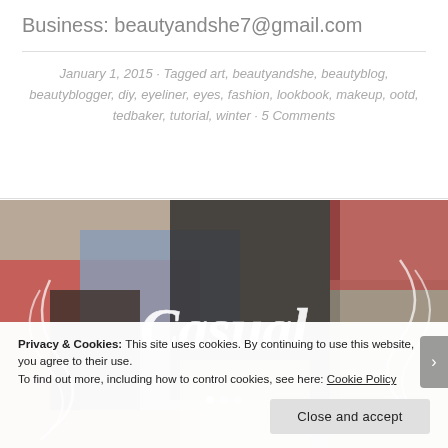Business: beautyandshe7@gmail.com
January 1, 2015 · Tagged art, beautyandshe, beautyblog, beautyblogger, diy, eyeliner, eyes, fashion, lookbook, makeup, ootd, tedbaker, tutorial, winter · 5 Comments
[Figure (photo): Photo with cursive text 'Casual' overlaid on a flat-lay of clothing items including jeans, boots, and other garments on a floral background]
Privacy & Cookies: This site uses cookies. By continuing to use this website, you agree to their use.
To find out more, including how to control cookies, see here: Cookie Policy
Close and accept